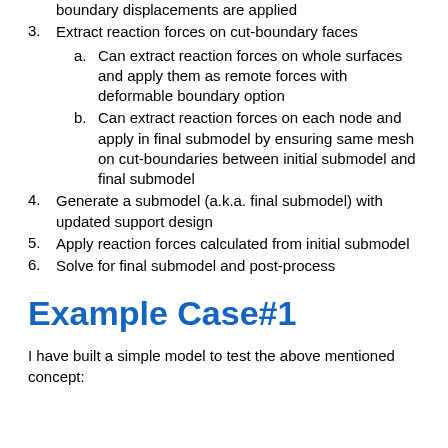boundary displacements are applied
3. Extract reaction forces on cut-boundary faces
  a. Can extract reaction forces on whole surfaces and apply them as remote forces with deformable boundary option
  b. Can extract reaction forces on each node and apply in final submodel by ensuring same mesh on cut-boundaries between initial submodel and final submodel
4. Generate a submodel (a.k.a. final submodel) with updated support design
5. Apply reaction forces calculated from initial submodel
6. Solve for final submodel and post-process
Example Case#1
I have built a simple model to test the above mentioned concept: